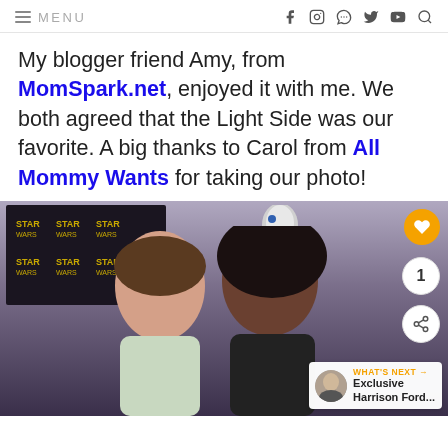≡ MENU   f  instagram  pinterest  twitter  youtube  search
My blogger friend Amy, from MomSpark.net, enjoyed it with me. We both agreed that the Light Side was our favorite. A big thanks to Carol from All Mommy Wants for taking our photo!
[Figure (photo): Two women smiling in front of a Star Wars themed backdrop. One woman with long brown hair wearing a light floral top, and one woman with natural hair wearing a black t-shirt with dark side graphic. UI overlays include an orange heart button, share count of 1, share button, and a 'What's Next' widget showing Exclusive Harrison Ford...]